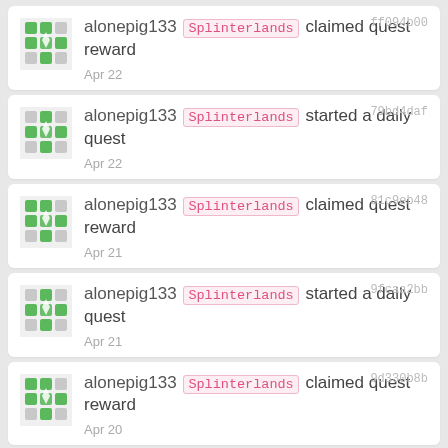alonepig133 Splinterlands claimed quest reward Apr 22 ff094b00
alonepig133 Splinterlands started a daily quest Apr 22 79bd4daf
alonepig133 Splinterlands claimed quest reward Apr 21 81c9eb48
alonepig133 Splinterlands started a daily quest Apr 21 9fcaa2bb
alonepig133 Splinterlands claimed quest reward Apr 20 9d330b8b
alonepig133 Splinterlands started a Apr 20 27cdeecd